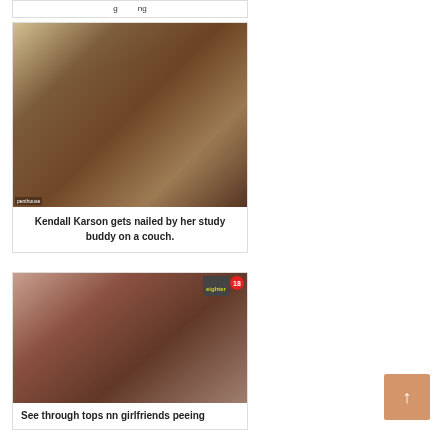[Figure (photo): Partial top card showing truncated text at top of page]
[Figure (photo): Photo of two people on a couch in an indoor setting]
Kendall Karson gets nailed by her study buddy on a couch.
[Figure (photo): Photo of a young woman with dark hair, with 18Eighteens logo watermark in top right corner]
See through tops nn girlfriends peeing